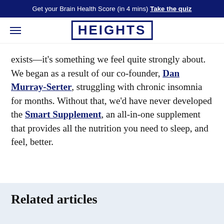Get your Brain Health Score (in 4 mins) Take the quiz
HEIGHTS
exists—it's something we feel quite strongly about. We began as a result of our co-founder, Dan Murray-Serter, struggling with chronic insomnia for months. Without that, we'd have never developed the Smart Supplement, an all-in-one supplement that provides all the nutrition you need to sleep, and feel, better.
Related articles